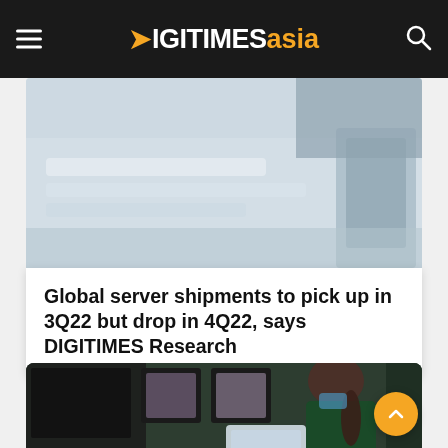DIGITIMES asia
[Figure (photo): Blurred photo of server equipment or computer hardware on desks]
Global server shipments to pick up in 3Q22 but drop in 4Q22, says DIGITIMES Research
[Figure (photo): Woman with dark hair in a ponytail wearing a green top and blue face mask, looking at a tablet device in what appears to be a tech retail or electronics store]